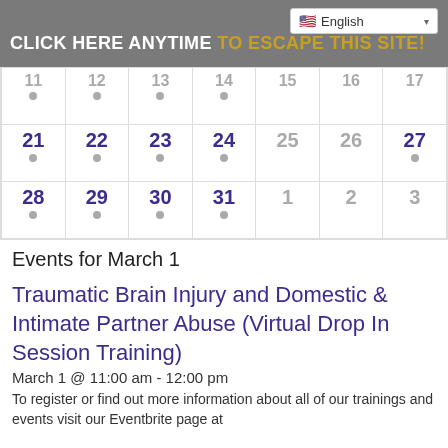English (language selector)
CLICK HERE ANYTIME TO ESCAPE THIS SITE!
|  |  |  |  |  |  |  |
| --- | --- | --- | --- | --- | --- | --- |
| 11 • | 12 • | 13 • | 14 • | 15 | 16 | 17 |
| 21 • | 22 • | 23 • | 24 • | 25 | 26 | 27 • |
| 28 • | 29 • | 30 • | 31 • | 1 | 2 | 3 |
Events for March 1
Traumatic Brain Injury and Domestic & Intimate Partner Abuse (Virtual Drop In Session Training)
March 1 @ 11:00 am - 12:00 pm
To register or find out more information about all of our trainings and events visit our Eventbrite page at